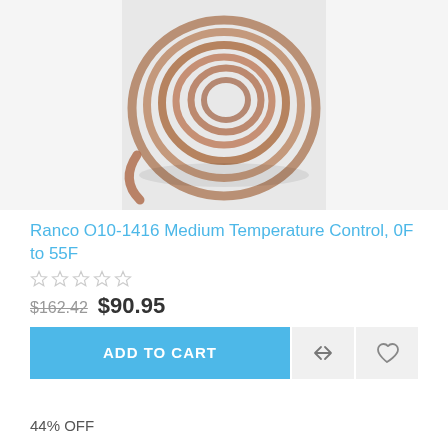[Figure (photo): Coiled copper/bronze tubing or capillary tube wound into a circular coil, photographed on a light gray background.]
Ranco O10-1416 Medium Temperature Control, 0F to 55F
[Figure (other): Five empty star rating icons in gray (0 out of 5 stars)]
$162.42  $90.95
ADD TO CART
44% OFF